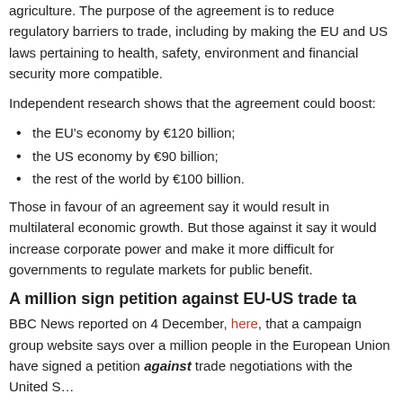agriculture. The purpose of the agreement is to reduce regulatory barriers to trade, including by making the EU and US laws pertaining to health, safety, environment and financial security more compatible.
Independent research shows that the agreement could boost:
the EU's economy by €120 billion;
the US economy by €90 billion;
the rest of the world by €100 billion.
Those in favour of an agreement say it would result in multilateral economic growth. But those against it say it would increase corporate power and make it more difficult for governments to regulate markets for public benefit.
A million sign petition against EU-US trade ta
BBC News reported on 4 December, here, that a campaign group website says over a million people in the European Union have signed a petition against trade negotiations with the United S…